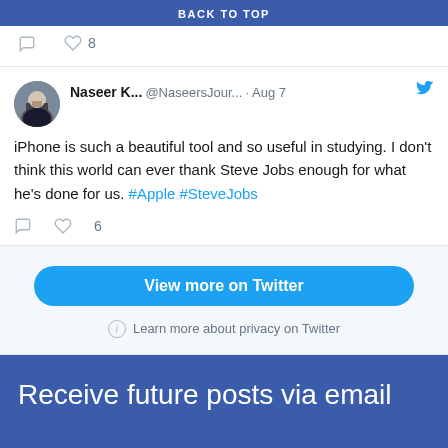BACK TO TOP
Nurse A: rugby. [comment icon] [heart icon] 8
Naseer K... @NaseersJour... · Aug 7 — iPhone is such a beautiful tool and so useful in studying. I don't think this world can ever thank Steve Jobs enough for what he's done for us. #Apple #SteveJobs [comment icon] [heart icon] 6
View more on Twitter
Learn more about privacy on Twitter
Receive future posts via email